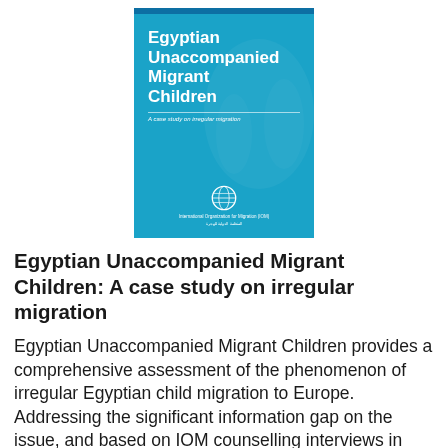[Figure (illustration): Book cover for 'Egyptian Unaccompanied Migrant Children: A case study on irregular migration' published by IOM (International Organization for Migration). Blue cover with white bold title text, a faint watermark of hands, IOM globe logo at the bottom, and Arabic text.]
Egyptian Unaccompanied Migrant Children: A case study on irregular migration
Egyptian Unaccompanied Migrant Children provides a comprehensive assessment of the phenomenon of irregular Egyptian child migration to Europe. Addressing the significant information gap on the issue, and based on IOM counselling interviews in Egypt and Greece, this report first provides insight... Read More